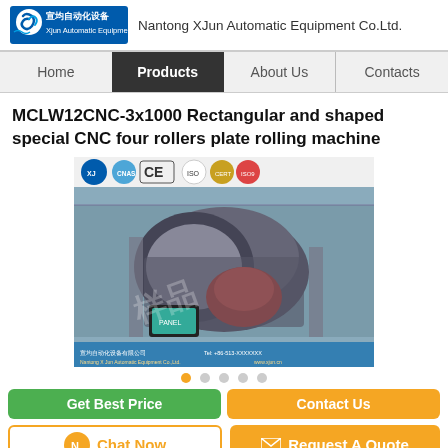Nantong XJun Automatic Equipment Co.Ltd.
Home | Products | About Us | Contacts
MCLW12CNC-3x1000 Rectangular and shaped special CNC four rollers plate rolling machine
[Figure (photo): Photo of a CNC four rollers plate rolling machine in a factory setting, with certification logos (CNAS, CE, ISO) displayed at the top of the image. The machine is large and red/industrial colored. Company branding and contact info visible at bottom of image.]
Get Best Price | Contact Us
Chat Now | Request A Quote